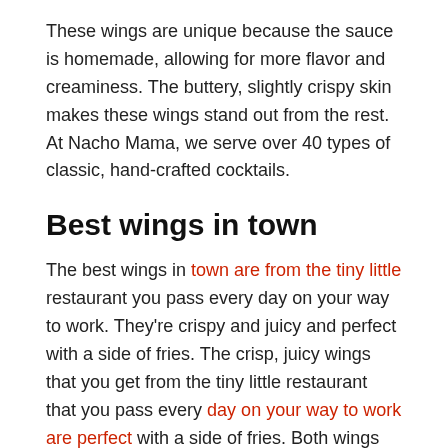These wings are unique because the sauce is homemade, allowing for more flavor and creaminess. The buttery, slightly crispy skin makes these wings stand out from the rest. At Nacho Mama, we serve over 40 types of classic, hand-crafted cocktails.
Best wings in town
The best wings in town are from the tiny little restaurant you pass every day on your way to work. They're crispy and juicy and perfect with a side of fries. The crisp, juicy wings that you get from the tiny little restaurant that you pass every day on your way to work are perfect with a side of fries. Both wings and fries from this place are classic, excellent, and satisfying. You can't go wrong with either one.
But what if you could get them without the guilt? Or what